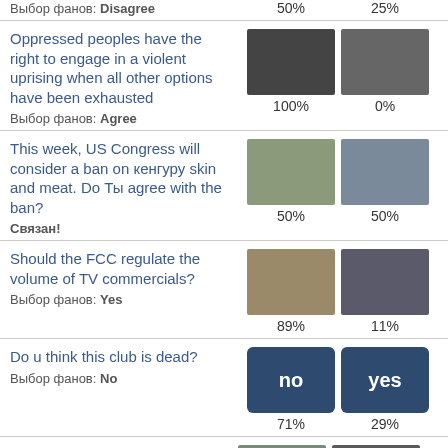Выбор фанов: Disagree | 50% | 25%
Oppressed peoples have the right to engage in a violent uprising when all other options have been exhausted
Выбор фанов: Agree | 100% | 0%
This week, US Congress will consider a ban on кенгуру skin and meat. Do Ты agree with the ban?
Связан! | 50% | 50%
Should the FCC regulate the volume of TV commercials?
Выбор фанов: Yes | 89% | 11%
Do u think this club is dead?
Выбор фанов: No | 71% | 29%
The Victorian state government has...